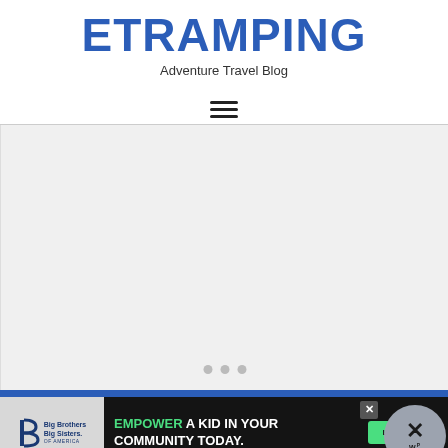ETRAMPING
Adventure Travel Blog
[Figure (screenshot): Hamburger menu icon (three horizontal lines)]
[Figure (screenshot): Large light gray slideshow/image placeholder area with three pagination dots at the bottom center]
[Figure (screenshot): Advertisement banner: Big Brothers Big Sisters logo on left, dark background with text 'EMPOWER A KID IN YOUR COMMUNITY TODAY.' and green 'Learn How' button, close X button, and circular WordPress icon on right]